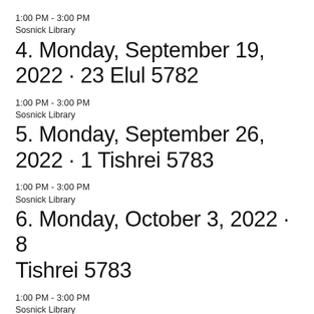1:00 PM - 3:00 PM
Sosnick Library
4. Monday, September 19, 2022 · 23 Elul 5782
1:00 PM - 3:00 PM
Sosnick Library
5. Monday, September 26, 2022 · 1 Tishrei 5783
1:00 PM - 3:00 PM
Sosnick Library
6. Monday, October 3, 2022 · 8 Tishrei 5783
1:00 PM - 3:00 PM
Sosnick Library
7. Monday, October 10, 2022 · 15 Tishrei 5783
1:00 PM - 3:00 PM